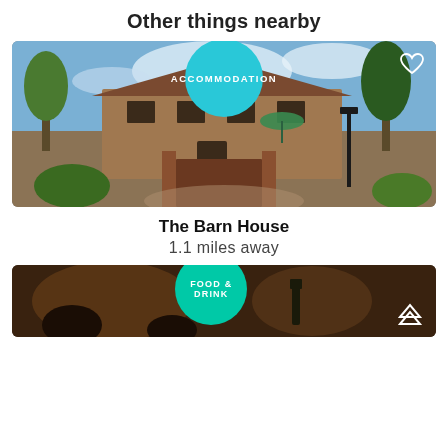Other things nearby
[Figure (photo): Exterior photo of The Barn House, a stone farmhouse building with garden, trees and a green umbrella visible. A cyan circle badge reading ACCOMMODATION overlays the top center.]
The Barn House
1.1 miles away
[Figure (photo): Interior/atmospheric photo of a dimly lit pub or restaurant. A teal circle badge reading FOOD & DRINK overlays the top center. A chevron-up arrow icon is visible bottom right.]